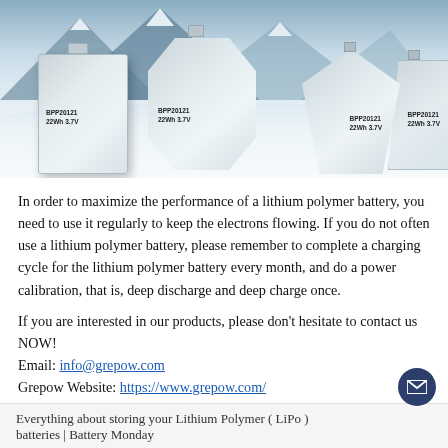[Figure (photo): Product photo showing multiple lithium polymer battery cells of different shapes (rectangular, hexagonal, diamond/kite) placed on a snowy surface with a mountain background. Batteries are silver/metallic with labels reading BPP20121, 22Wh, 3.7V.]
In order to maximize the performance of a lithium polymer battery, you need to use it regularly to keep the electrons flowing. If you do not often use a lithium polymer battery, please remember to complete a charging cycle for the lithium polymer battery every month, and do a power calibration, that is, deep discharge and deep charge once.
If you are interested in our products, please don't hesitate to contact us NOW!
Email: info@grepow.com
Grepow Website: https://www.grepow.com/
Everything about storing your Lithium Polymer ( LiPo ) batteries | Battery Monday